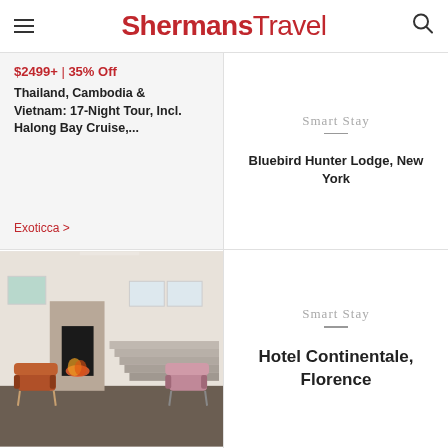ShermansTravel
$2499+ | 35% Off
Thailand, Cambodia & Vietnam: 17-Night Tour, Incl. Halong Bay Cruise,...
Exoticca >
Smart Stay
Bluebird Hunter Lodge, New York
[Figure (photo): Hotel lobby interior with fireplace, leather chairs, and staircase]
Smart Stay
Hotel Continentale, Florence